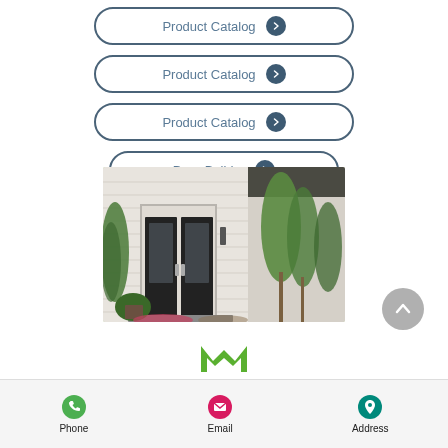Product Catalog
Product Catalog
Product Catalog
Door Builder
[Figure (photo): Exterior photo of a house entrance with black double doors, white siding, and trees/landscaping]
[Figure (logo): Green M logo mark]
Phone   Email   Address